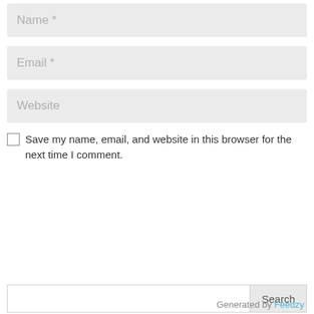[Figure (screenshot): Form input field with placeholder text 'Name *']
[Figure (screenshot): Form input field with placeholder text 'Email *']
[Figure (screenshot): Form input field with placeholder text 'Website']
Save my name, email, and website in this browser for the next time I comment.
[Figure (screenshot): Search input bar with Search button]
Generated by Feedzy